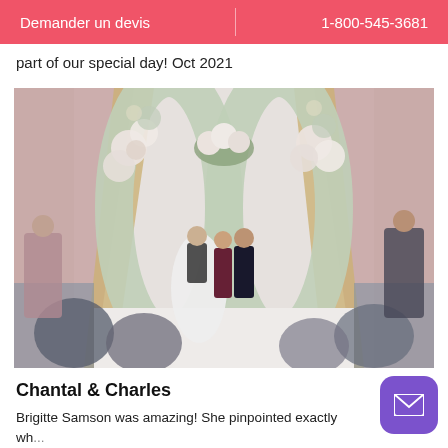Demander un devis    1-800-545-3681
part of our special day! Oct 2021
[Figure (photo): Wedding ceremony photo: bride and groom standing under a large floral arch with pink and white flowers, officiant in burgundy dress holding a book, guests seated in gold chairs watching, pink and gold draped curtains in background.]
Chantal & Charles
Brigitte Samson was amazing! She pinpointed exactly wh... wanted. She was fun and keep the ceremony light. Absolu... recommended. Oct 2021